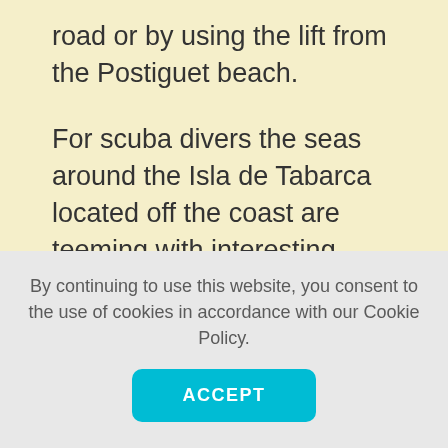road or by using the lift from the Postiguet beach.
For scuba divers the seas around the Isla de Tabarca located off the coast are teeming with interesting sealife.
Alicante also offers an extensive range of sports facilities, with installations for football, volleyball, basketball, tennis, shooting, a riding school, swimming pools and gyms, and for sailing enthusiasts, choose from the Real
By continuing to use this website, you consent to the use of cookies in accordance with our Cookie Policy.
ACCEPT